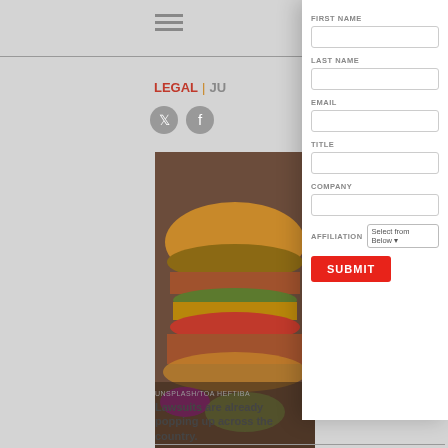[Figure (screenshot): Hamburger menu icon (three horizontal lines)]
LEGAL | JU...
[Figure (illustration): Social media icons: Twitter and Facebook (partially visible)]
[Figure (photo): Photo of a burger/sandwich on a plate with garnish]
UNSPLASH/TOA HEFTIBA
[Figure (screenshot): Web form overlay with fields: FIRST NAME, LAST NAME, EMAIL, TITLE, COMPANY, AFFILIATION dropdown, and SUBMIT button]
Lawsuits are already popping up across the country.